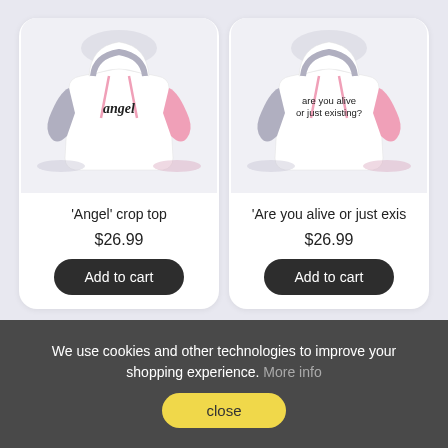[Figure (photo): Crop hoodie with gray and pink sleeves, text 'angel' on front]
'Angel' crop top
$26.99
Add to cart
[Figure (photo): Crop hoodie with gray and pink sleeves, text 'are you alive or just existing?' on front]
'Are you alive or just exis
$26.99
Add to cart
We use cookies and other technologies to improve your shopping experience. More info
close